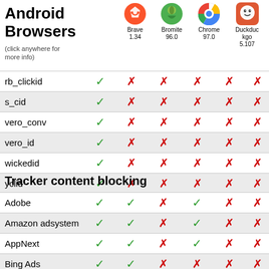Android Browsers
(click anywhere for more info)
|  | Brave 1.34 | Bromite 96.0 | Chrome 97.0 | Duckduckgo 5.107 | Edge 97.0 | Firefox 95.2 |
| --- | --- | --- | --- | --- | --- | --- |
| rb_clickid | ✓ | ✗ | ✗ | ✗ | ✗ | ✗ |
| s_cid | ✓ | ✗ | ✗ | ✗ | ✗ | ✗ |
| vero_conv | ✓ | ✗ | ✗ | ✗ | ✗ | ✗ |
| vero_id | ✓ | ✗ | ✗ | ✗ | ✗ | ✗ |
| wickedid | ✓ | ✗ | ✗ | ✗ | ✗ | ✗ |
| yclid | ✓ | ✗ | ✗ | ✗ | ✗ | ✗ |
Tracker content blocking
|  | Brave 1.34 | Bromite 96.0 | Chrome 97.0 | Duckduckgo 5.107 | Edge 97.0 | Firefox 95.2 |
| --- | --- | --- | --- | --- | --- | --- |
| Adobe | ✓ | ✓ | ✗ | ✓ | ✗ | ✗ |
| Amazon adsystem | ✓ | ✓ | ✗ | ✓ | ✗ | ✗ |
| AppNext | ✓ | ✓ | ✗ | ✓ | ✗ | ✗ |
| Bing Ads | ✓ | ✓ | ✗ | ✗ | ✗ | ✗ |
| Chartbeat | ✓ | ✓ | ✗ | ✗ | ✗ | ✗ |